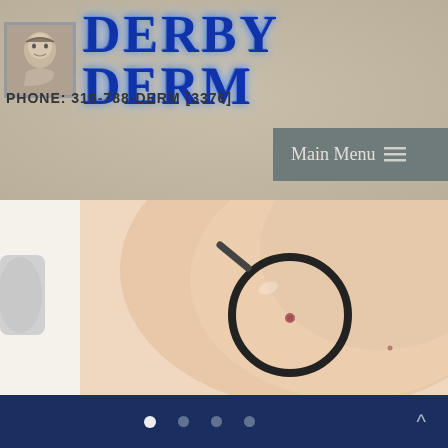[Figure (logo): Derby Derm dermatology clinic logo with classical portrait icon and stylized blue text reading DERBY DERM]
PHONE: 316-788-DERM [3376]
Main Menu
[Figure (photo): Medical photo showing a dermatologist examining a skin lesion/mole on a patient's back using a magnifying glass or dermatoscope]
[Figure (screenshot): Navigation dots (slideshow indicator) with 4 dots, first dot active/white, and an up arrow on the right, on dark navy background]